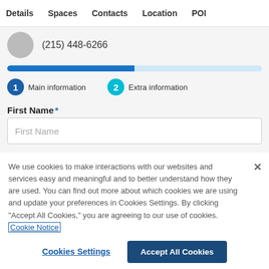Details  Spaces  Contacts  Location  POI
(215) 448-6266
[Figure (infographic): Progress bar showing step 1 of 2 filled in blue, step 2 empty in light blue]
1 Main information
2 Extra information
First Name *
First Name (placeholder text in input field)
We use cookies to make interactions with our websites and services easy and meaningful and to better understand how they are used. You can find out more about which cookies we are using and update your preferences in Cookies Settings. By clicking "Accept All Cookies," you are agreeing to our use of cookies. Cookie Notice
Cookies Settings
Accept All Cookies